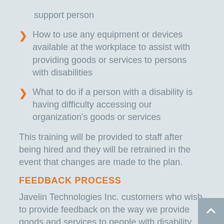support person
How to use any equipment or devices available at the workplace to assist with providing goods or services to persons with disabilities
What to do if a person with a disability is having difficulty accessing our organization's goods or services
This training will be provided to staff after being hired and they will be retrained in the event that changes are made to the plan.
FEEDBACK PROCESS
Javelin Technologies Inc. customers who wish to provide feedback on the way we provide goods and services to people with disability can contact